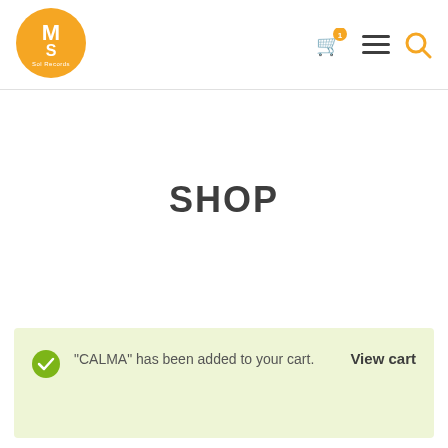[Figure (logo): M Sol Records circular orange logo with 'M' and 'S' letters and text 'M Sol Records']
[Figure (other): Header icons: shopping cart with badge '1', hamburger menu, search magnifying glass — all in dark/orange]
SHOP
“CALMA” has been added to your cart.
View cart